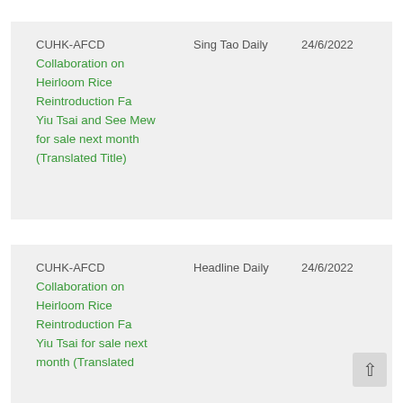| Title | Source | Date |
| --- | --- | --- |
| CUHK-AFCD Collaboration on Heirloom Rice Reintroduction Fa Yiu Tsai and See Mew for sale next month (Translated Title) | Sing Tao Daily | 24/6/2022 |
| CUHK-AFCD Collaboration on Heirloom Rice Reintroduction Fa Yiu Tsai for sale next month (Translated | Headline Daily | 24/6/2022 |